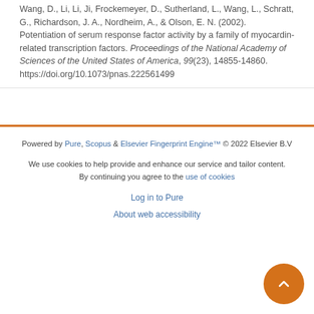Wang, D., Li, Li, Ji, Frockemeyer, D., Sutherland, L., Wang, L., Schratt, G., Richardson, J. A., Nordheim, A., & Olson, E. N. (2002). Potentiation of serum response factor activity by a family of myocardin-related transcription factors. Proceedings of the National Academy of Sciences of the United States of America, 99(23), 14855-14860. https://doi.org/10.1073/pnas.222561499
Powered by Pure, Scopus & Elsevier Fingerprint Engine™ © 2022 Elsevier B.V
We use cookies to help provide and enhance our service and tailor content. By continuing you agree to the use of cookies
Log in to Pure
About web accessibility